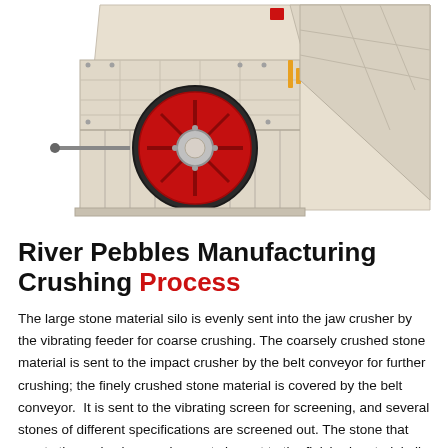[Figure (photo): Industrial impact crusher machine — a large beige/cream-colored crushing unit with a prominent red flywheel/pulley on the front face, red accent markings, and ribbed lower body panels. Photographed against a white background at a slight angle showing the front and right side.]
River Pebbles Manufacturing Crushing Process
The large stone material silo is evenly sent into the jaw crusher by the vibrating feeder for coarse crushing. The coarsely crushed stone material is sent to the impact crusher by the belt conveyor for further crushing; the finely crushed stone material is covered by the belt conveyor.  It is sent to the vibrating screen for screening, and several stones of different specifications are screened out. The stone that meets the grain size requirements is sent to the finished material pile